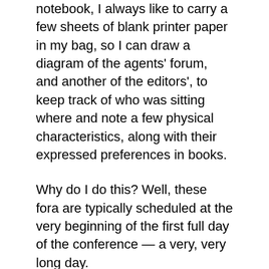notebook, I always like to carry a few sheets of blank printer paper in my bag, so I can draw a diagram of the agents' forum, and another of the editors', to keep track of who was sitting where and note a few physical characteristics, along with their expressed preferences in books.
Why do I do this? Well, these fora are typically scheduled at the very beginning of the first full day of the conference — a very, very long day.
By the time people are wandering into their appointments at the end of the second day, dehydrated,